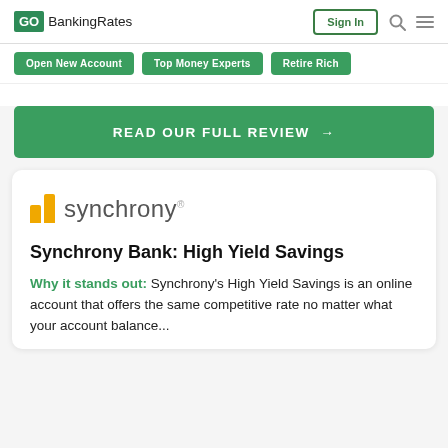GOBankingRates
Open New Account
Top Money Experts
Retire Rich
READ OUR FULL REVIEW →
[Figure (logo): Synchrony bank logo with two gold/yellow vertical bars and the word 'synchrony' in gray]
Synchrony Bank: High Yield Savings
Why it stands out: Synchrony's High Yield Savings is an online account that offers the same competitive rate no matter what your account balance...